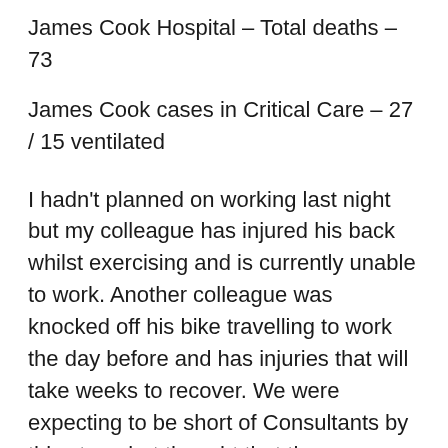James Cook Hospital – Total deaths – 73
James Cook cases in Critical Care – 27 / 15 ventilated
I hadn't planned on working last night but my colleague has injured his back whilst exercising and is currently unable to work. Another colleague was knocked off his bike travelling to work the day before and has injuries that will take weeks to recover. We were expecting to be short of Consultants by this stage but thought that the coronavirus would be responsible, not exercise or trauma.
Fortunately things are still relatively under control. Our numbers of patients